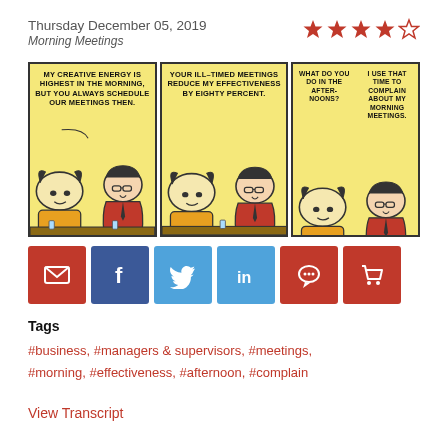Thursday December 05, 2019
Morning Meetings
[Figure (illustration): Dilbert comic strip with three panels. Panel 1: Character says 'MY CREATIVE ENERGY IS HIGHEST IN THE MORNING, BUT YOU ALWAYS SCHEDULE OUR MEETINGS THEN.' Panel 2: Character says 'YOUR ILL-TIMED MEETINGS REDUCE MY EFFECTIVENESS BY EIGHTY PERCENT.' Panel 3: One character asks 'WHAT DO YOU DO IN THE AFTERNOONS?' and another replies 'I USE THAT TIME TO COMPLAIN ABOUT MY MORNING MEETINGS.']
[Figure (infographic): Social sharing buttons: email (red), Facebook (dark blue), Twitter (light blue), LinkedIn (light blue), comment/chat (red), shopping cart (red)]
Tags
#business, #managers & supervisors, #meetings, #morning, #effectiveness, #afternoon, #complain
View Transcript